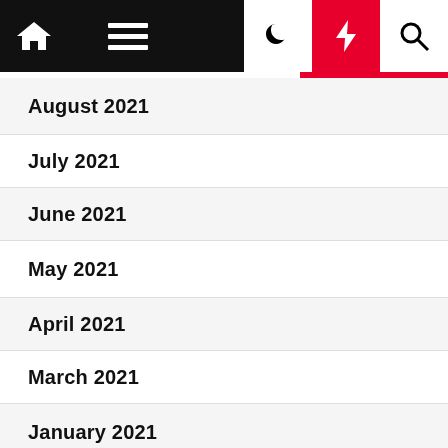Navigation bar with home, menu, moon, lightning, search icons
August 2021
July 2021
June 2021
May 2021
April 2021
March 2021
January 2021
October 2020
September 2020